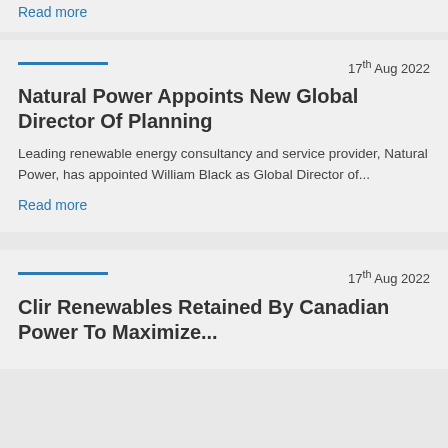Read more
17th Aug 2022
Natural Power Appoints New Global Director Of Planning
Leading renewable energy consultancy and service provider, Natural Power, has appointed William Black as Global Director of...
Read more
17th Aug 2022
Clir Renewables Retained By Canadian Power To Maximize...